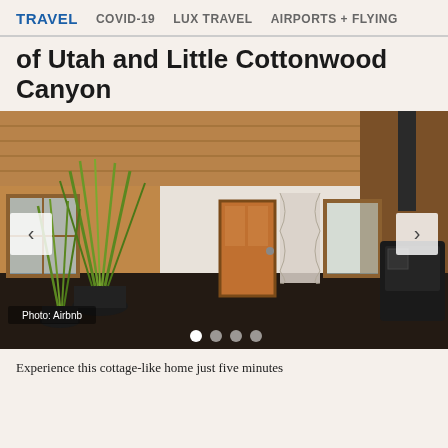TRAVEL  COVID-19  LUX TRAVEL  AIRPORTS + FLYING
Quaint Cottage Near University of Utah and Little Cottonwood Canyon
[Figure (photo): Interior of a cozy cottage with wood-paneled ceiling, tall ornamental grass plants in black pots, a wooden front door, floral curtains, a wood-burning stove on the right, and dark hexagonal tile flooring. Photo credit: Airbnb. Carousel with 4 dots shown at bottom.]
Experience this cottage-like home just five minutes